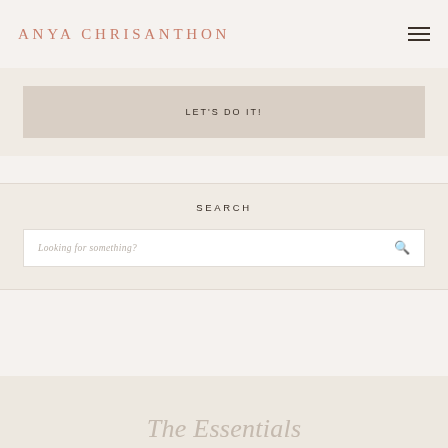ANYA CHRISANTHON
LET'S DO IT!
SEARCH
Looking for something?